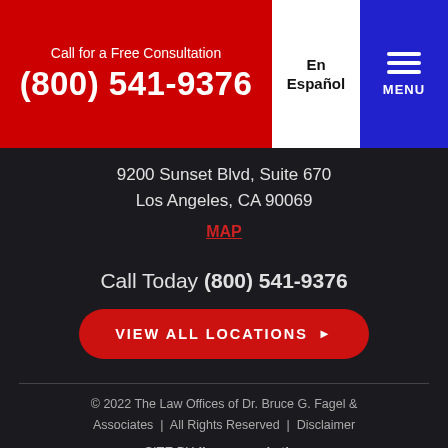Call for a Free Consultation (800) 541-9376 | En Español | MENU
9200 Sunset Blvd, Suite 670
Los Angeles, CA 90069
MAP
Call Today (800) 541-9376
VIEW ALL LOCATIONS ▶
© 2022 The Law Offices of Dr. Bruce G. Fagel & Associates  |  All Rights Reserved  |  Disclaimer
SITE BY ilawyermarketing